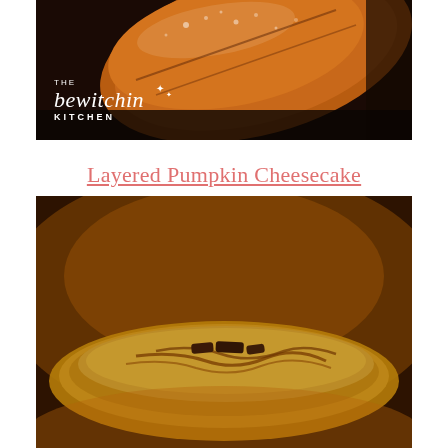[Figure (photo): Close-up photo of a golden-brown pastry or fried dough dusted with powdered sugar, with 'The Bewitchin Kitchen' logo overlaid in white text in the bottom left corner]
Layered Pumpkin Cheesecake
[Figure (photo): Blurred close-up photo of a pumpkin cheesecake on a plate with caramel swirls and chocolate pieces on top, warm amber and brown tones]